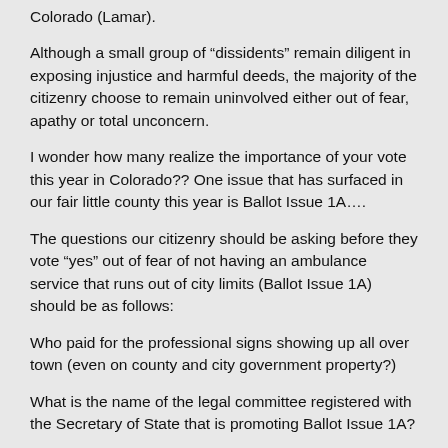Colorado (Lamar).
Although a small group of "dissidents" remain diligent in exposing injustice and harmful deeds, the majority of the citizenry choose to remain uninvolved either out of fear, apathy or total unconcern.
I wonder how many realize the importance of your vote this year in Colorado?? One issue that has surfaced in our fair little county this year is Ballot Issue 1A....
The questions our citizenry should be asking before they vote "yes" out of fear of not having an ambulance service that runs out of city limits (Ballot Issue 1A) should be as follows:
Who paid for the professional signs showing up all over town (even on county and city government property?)
What is the name of the legal committee registered with the Secretary of State that is promoting Ballot Issue 1A?
Who is responsible for distributing and placing the signs? City employees? City and County officials?
Have threats been made to some who have questioned unethical actions of their superiors regarding this issue?
Is financial evidence of expenditures for signs available to the citizenry?